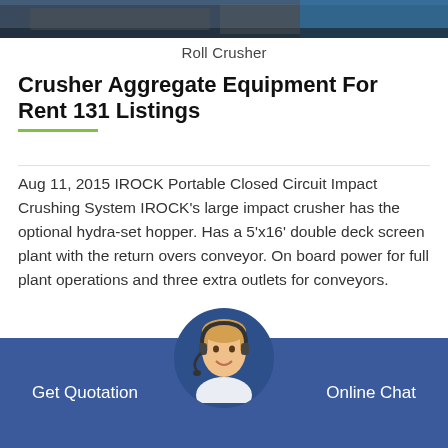[Figure (photo): A photo strip showing industrial crushing equipment in a workshop/warehouse setting with blue and steel-colored machinery.]
Roll Crusher
Crusher Aggregate Equipment For Rent 131 Listings
Aug 11, 2015 IROCK Portable Closed Circuit Impact Crushing System IROCK's large impact crusher has the optional hydra-set hopper. Has a 5'x16' double deck screen plant with the return overs conveyor. On board power for full plant operations and three extra outlets for conveyors.
Portable Crushing Equipment Sales And Rental Thompson
Get Quotation   Online Chat